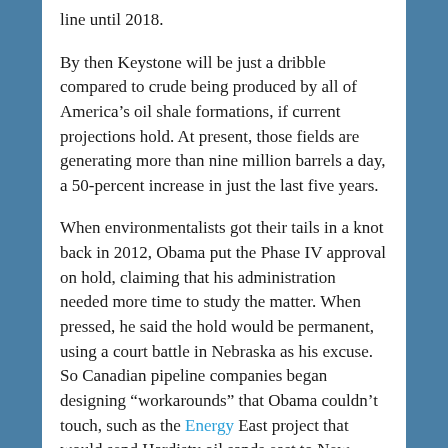line until 2018.
By then Keystone will be just a dribble compared to crude being produced by all of America’s oil shale formations, if current projections hold. At present, those fields are generating more than nine million barrels a day, a 50-percent increase in just the last five years.
When environmentalists got their tails in a knot back in 2012, Obama put the Phase IV approval on hold, claiming that his administration needed more time to study the matter. When pressed, he said the hold would be permanent, using a court battle in Nebraska as his excuse. So Canadian pipeline companies began designing “workarounds” that Obama couldn’t touch, such as the Energy East project that would send Hardisty oil sands east to New Brunswick using an